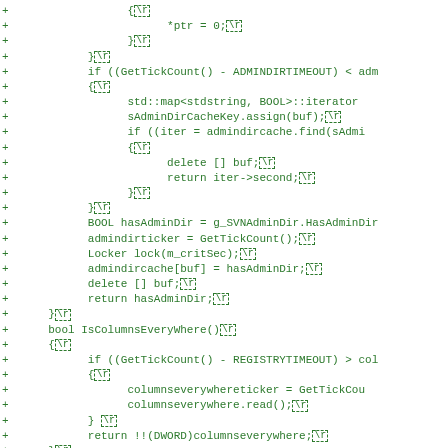[Figure (screenshot): A code diff view showing C++ source code lines prefixed with '+' signs in green monospace font. The code includes functions like IsColumnsEveryWhere() and references to ADMINDIRTIMEOUT, REGISTRYTIMEOUT, and SVNAdminDir. Newline markers shown as \r in dashed boxes.]